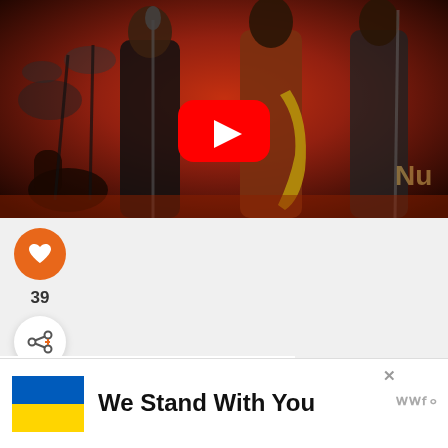[Figure (screenshot): YouTube video thumbnail showing a jazz band performing on stage with orange/red background lighting. A YouTube play button overlay is centered on the image.]
[Figure (screenshot): Social interaction buttons: orange heart/like button, like count '39', and a share button with plus icon.]
39
[Figure (screenshot): What's Next section showing '14 Of The Greatest An...' with a circular thumbnail of a saxophone player.]
[Figure (infographic): Advertisement banner with Ukraine flag (blue and yellow), text 'We Stand With You', close button X, and advertiser logo WWF/similar.]